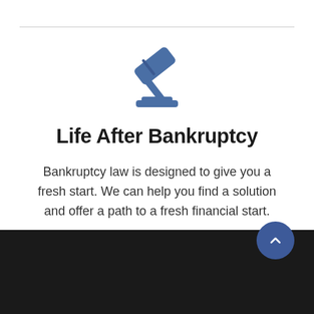[Figure (illustration): Blue gavel/hammer icon centered on white background]
Life After Bankruptcy
Bankruptcy law is designed to give you a fresh start. We can help you find a solution and offer a path to a fresh financial start.
Learn More
[Figure (photo): Dark blurred photo background at bottom of page, showing a dark surface]